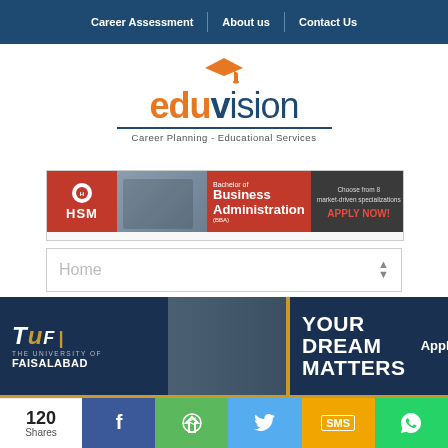Career Assessment | About us | Contact Us
[Figure (logo): Eduvision logo with graduation cap icon, text 'eduvision' in orange and blue, tagline 'Career Planning - Educational Services']
[Figure (infographic): HSM banner ad: Bachelor of Business Administration (BBA), Choose from 8 market-driven specializations, APPLY NOW!]
Home
[Figure (infographic): TUF - The University of Faisalabad banner: YOUR DREAM MATTERS, Apply Now!]
120 Shares